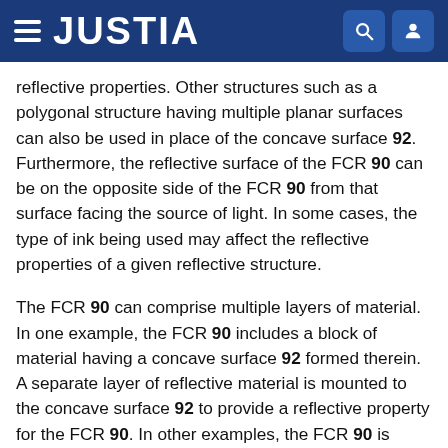JUSTIA
reflective properties. Other structures such as a polygonal structure having multiple planar surfaces can also be used in place of the concave surface 92. Furthermore, the reflective surface of the FCR 90 can be on the opposite side of the FCR 90 from that surface facing the source of light. In some cases, the type of ink being used may affect the reflective properties of a given reflective structure.
The FCR 90 can comprise multiple layers of material. In one example, the FCR 90 includes a block of material having a concave surface 92 formed therein. A separate layer of reflective material is mounted to the concave surface 92 to provide a reflective property for the FCR 90. In other examples, the FCR 90 is made from a block of reflective material such that when the concave surface 92 is formed therein the concave surface 92 is